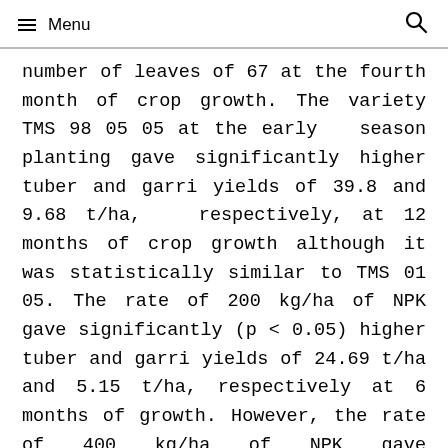≡ Menu  🔍
number of leaves of 67 at the fourth month of crop growth. The variety TMS 98 05 05 at the early season planting gave significantly higher tuber and garri yields of 39.8 and 9.68 t/ha, respectively, at 12 months of crop growth although it was statistically similar to TMS 01 05. The rate of 200 kg/ha of NPK gave significantly (p < 0.05) higher tuber and garri yields of 24.69 t/ha and 5.15 t/ha, respectively at 6 months of growth. However, the rate of 400 kg/ha of NPK gave significantly (p < 0.05) higher tuber and garri